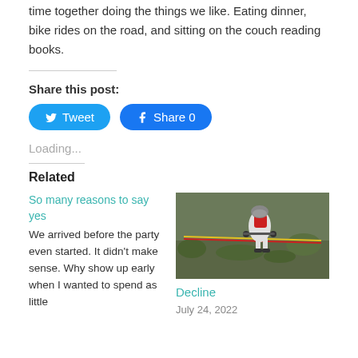time together doing the things we like. Eating dinner, bike rides on the road, and sitting on the couch reading books.
Share this post:
Tweet
Share 0
Loading...
Related
So many reasons to say yes
We arrived before the party even started. It didn't make sense. Why show up early when I wanted to spend as little
[Figure (photo): A mountain biker wearing a helmet and white/red gear, leaning forward on a trail with green vegetation, behind a barrier tape.]
Decline
July 24, 2022